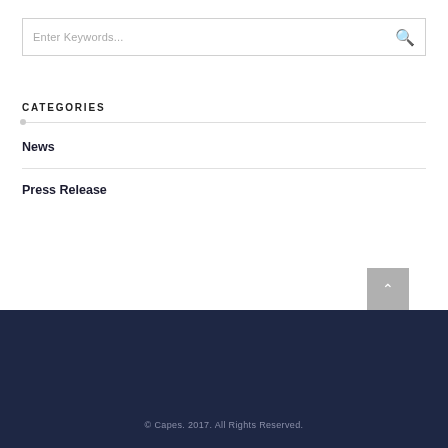Enter Keywords...
CATEGORIES
News
Press Release
© Capes. 2017. All Rights Reserved.